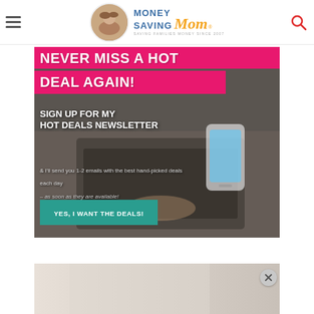[Figure (logo): Money Saving Mom logo with circular portrait photo, blue 'MONEY SAVING' text, gold italic 'Mom' text, and tagline 'SAVING FAMILIES MONEY SINCE 2007']
[Figure (infographic): Newsletter signup banner ad. Hot pink headline boxes: 'NEVER MISS A HOT DEAL AGAIN!' Bold white text: 'SIGN UP FOR MY HOT DEALS NEWSLETTER'. Body text: '& I'll send you 1-2 emails with the best hand-picked deals each day – as soon as they are available!' Teal CTA button: 'YES, I WANT THE DEALS!' Background shows person typing on laptop with smartphone nearby.]
[Figure (photo): Partial preview of a second ad or content block at bottom of page, showing a light-colored image, with a close (X) button on the right]